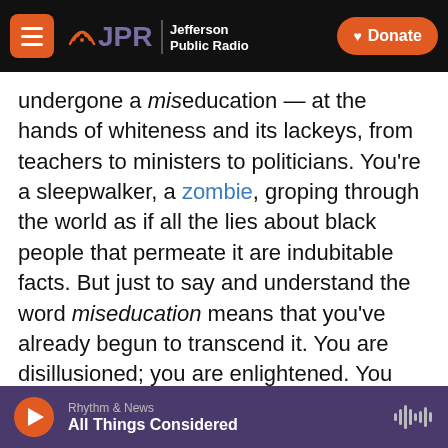JPR Jefferson Public Radio | Donate
undergone a miseducation — at the hands of whiteness and its lackeys, from teachers to ministers to politicians. You're a sleepwalker, a zombie, groping through the world as if all the lies about black people that permeate it are indubitable facts. But just to say and understand the word miseducation means that you've already begun to transcend it. You are disillusioned; you are enlightened. You see things clearly now; you cannot unsee them.
When Hill's breakout album with the Fugees, The Score, was released in 1996, she was an English
Rhythm & News | All Things Considered